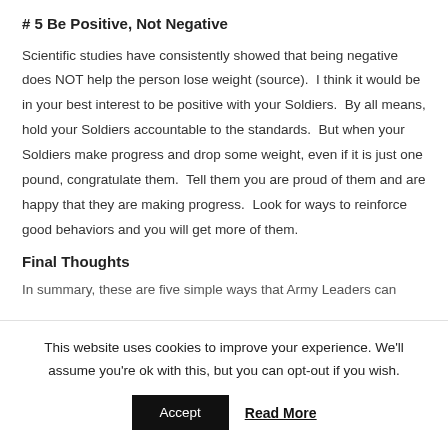# 5 Be Positive, Not Negative
Scientific studies have consistently showed that being negative does NOT help the person lose weight (source).  I think it would be in your best interest to be positive with your Soldiers.  By all means, hold your Soldiers accountable to the standards.  But when your Soldiers make progress and drop some weight, even if it is just one pound, congratulate them.  Tell them you are proud of them and are happy that they are making progress.  Look for ways to reinforce good behaviors and you will get more of them.
Final Thoughts
In summary, these are five simple ways that Army Leaders can
This website uses cookies to improve your experience. We'll assume you're ok with this, but you can opt-out if you wish.